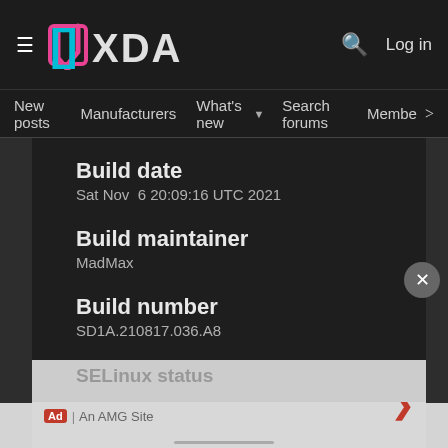XDA — New posts | Manufacturers | What's new | Search forums | Members
Build date
Sat Nov  6 20:09:16 UTC 2021
Build maintainer
MadMax
Build number
SD1A.210817.036.A8
SELinux status
Enfo...
GINKGO TREE CARE
Ad | An AMG Site